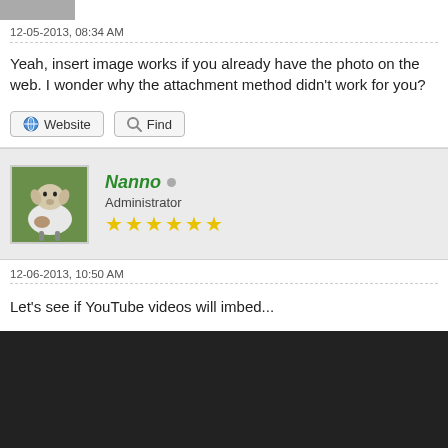[Figure (photo): Small cropped avatar photo at top of page]
12-05-2013, 08:34 AM
Yeah, insert image works if you already have the photo on the web. I wonder why the attachment method didn't work for you?
Website   Find
[Figure (photo): Avatar of Nanno — a goat photo]
Nanno
Administrator
★★★★★★
12-06-2013, 10:50 AM
Let's see if YouTube videos will imbed...
[Figure (screenshot): Black video player placeholder (YouTube embed)]